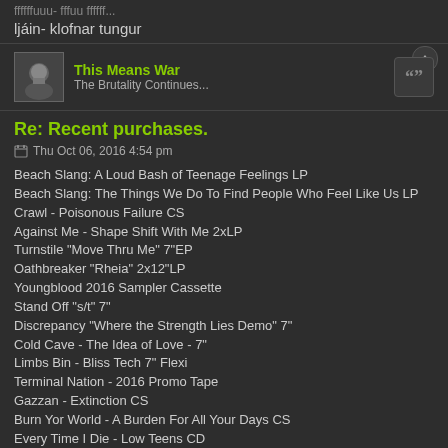ljáin- klofnar tungur
This Means War
The Brutality Continues...
Re: Recent purchases.
Thu Oct 06, 2016 4:54 pm
Beach Slang: A Loud Bash of Teenage Feelings LP
Beach Slang: The Things We Do To Find People Who Feel Like Us LP
Crawl - Poisonous Failure CS
Against Me - Shape Shift With Me 2xLP
Turnstile "Move Thru Me" 7"EP
Oathbreaker "Rheia" 2x12"LP
Youngblood 2016 Sampler Cassette
Stand Off "s/t" 7"
Discrepancy "Where the Strength Lies Demo" 7"
Cold Cave - The Idea of Love - 7"
Limbs Bin - Bliss Tech 7" Flexi
Terminal Nation - 2016 Promo Tape
Gazzan - Extinction CS
Burn Yor World - A Burden For All Your Days CS
Every Time I Die - Low Teens CD
VA - Drive OST 12" Single